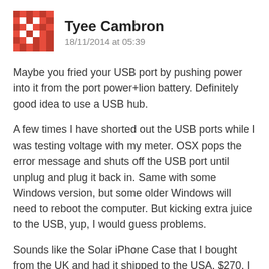[Figure (illustration): Red and white geometric/pixel avatar icon for user Tyee Cambron]
Tyee Cambron
18/11/2014 at 05:39
Maybe you fried your USB port by pushing power into it from the port power+lion battery. Definitely good idea to use a USB hub.
A few times I have shorted out the USB ports while I was testing voltage with my meter. OSX pops the error message and shuts off the USB port until unplug and plug it back in. Same with some Windows version, but some older Windows will need to reboot the computer. But kicking extra juice to the USB, yup, I would guess problems.
Sounds like the Solar iPhone Case that I bought from the UK and had it shipped to the USA. $270. I